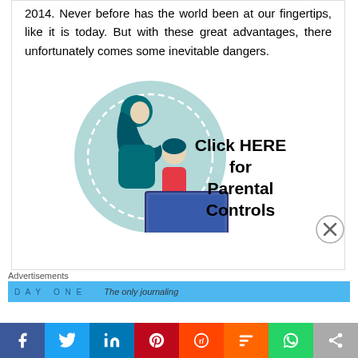2014. Never before has the world been at our fingertips, like it is today. But with these great advantages, there unfortunately comes some inevitable dangers.
[Figure (illustration): Illustration of an adult and child sitting together in front of a laptop computer, inside a teal circle. Text beside it reads 'Click HERE for Parental Controls' in bold black.]
Advertisements
[Figure (screenshot): DayOne advertisement banner: 'The only journaling...' on blue background]
[Figure (infographic): Social media share bar with icons for Facebook, Twitter, LinkedIn, Pinterest, Reddit, Mix, WhatsApp, and Share]